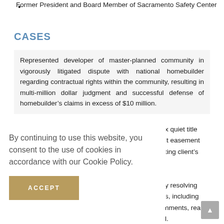Former President and Board Member of Sacramento Safety Center
CASES
Represented developer of master-planned community in vigorously litigated dispute with national homebuilder regarding contractual rights within the community, resulting in multi-million dollar judgment and successful defense of homebuilder's claims in excess of $10 million.
x quiet title
lt easement
ting client's
By continuing to use this website, you consent to the use of cookies in accordance with our Cookie Policy.
ACCEPT
y resolving
s, including
nments, real
l.